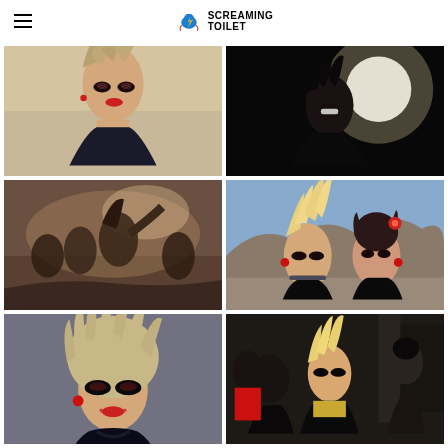Screaming Toilet logo and navigation
[Figure (photo): Close-up of a punk-styled woman with spiky blonde hair, heavy dark eye makeup, and red lips holding something near her neck, outdoors in bright sunlight]
[Figure (photo): Dark scene showing a person with spiky hair grinning at camera with a bright light source behind them]
[Figure (photo): Dark atmospheric scene with multiple people on a rocky/dusty outdoor set with smoke or haze visible]
[Figure (photo): Two women outdoors with mountains in background — one with tall blonde spiky hair wearing black choker and spaghetti-strap top, another with dark curly hair and red flower accessory]
[Figure (photo): Portrait of a woman with wild teased blonde hair, heavy dark eye makeup, red earring, smiling, wearing dark clothing]
[Figure (photo): Group of people in punk/rock styling inside a dim indoor setting, one wearing a red shirt]